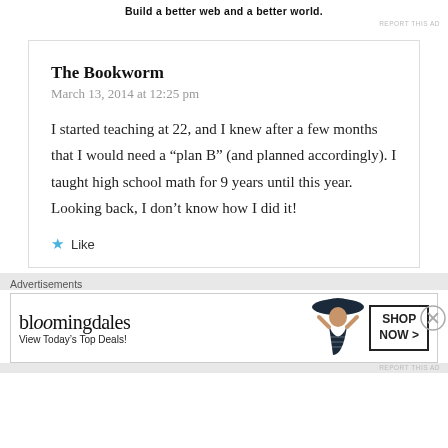Build a better web and a better world.
REPORT THIS AD
The Bookworm
March 13, 2014 at 12:25 pm
I started teaching at 22, and I knew after a few months that I would need a “plan B” (and planned accordingly). I taught high school math for 9 years until this year. Looking back, I don’t know how I did it!
Like
Advertisements
[Figure (other): Bloomingdales advertisement banner with text 'View Today's Top Deals!' and 'SHOP NOW >' button, featuring a model with a wide-brim hat]
REPORT THIS AD